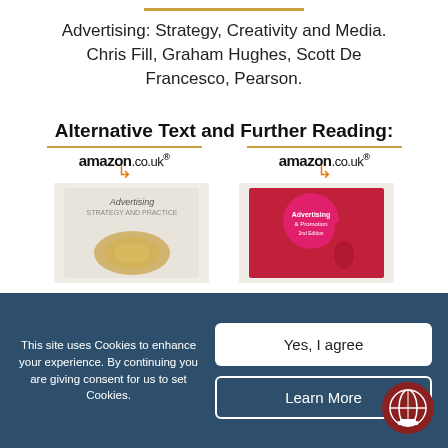Advertising: Strategy, Creativity and Media. Chris Fill, Graham Hughes, Scott De Francesco, Pearson.
Alternative Text and Further Reading:
[Figure (screenshot): Two Amazon.co.uk book listing thumbnails side by side showing advertising textbook covers]
This site uses Cookies to enhance your experience. By continuing you are giving consent for us to set Cookies.
Yes, I agree
Learn More